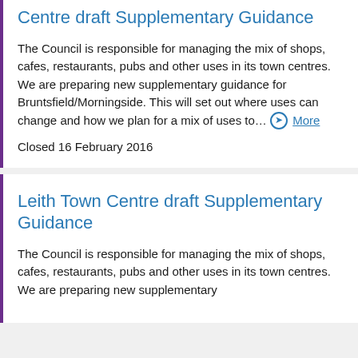Centre draft Supplementary Guidance
The Council is responsible for managing the mix of shops, cafes, restaurants, pubs and other uses in its town centres. We are preparing new supplementary guidance for Bruntsfield/Morningside. This will set out where uses can change and how we plan for a mix of uses to… More
Closed 16 February 2016
Leith Town Centre draft Supplementary Guidance
The Council is responsible for managing the mix of shops, cafes, restaurants, pubs and other uses in its town centres. We are preparing new supplementary